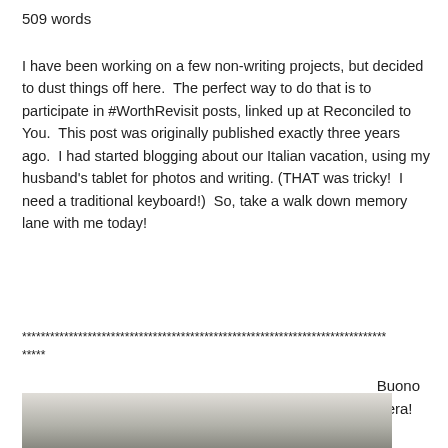509 words
I have been working on a few non-writing projects, but decided to dust things off here.  The perfect way to do that is to participate in #WorthRevisit posts, linked up at Reconciled to You.  This post was originally published exactly three years ago.  I had started blogging about our Italian vacation, using my husband's tablet for photos and writing. (THAT was tricky!  I need a traditional keyboard!)  So, take a walk down memory lane with me today!
******************************************************************************
*****
Buono
Sera!
[Figure (photo): A photograph showing what appears to be an indoor or outdoor scene, partially visible at the bottom of the page.]